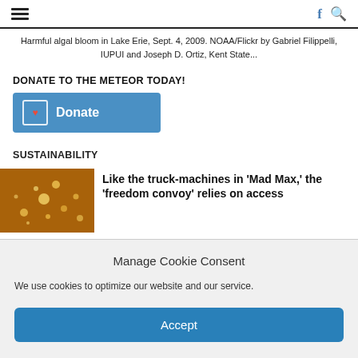≡  [hamburger menu]  [facebook icon]  [search icon]
Harmful algal bloom in Lake Erie, Sept. 4, 2009. NOAA/Flickr by Gabriel Filippelli, IUPUI and Joseph D. Ortiz, Kent State...
DONATE TO THE METEOR TODAY!
[Figure (other): Donate button with heart icon on blue background]
SUSTAINABILITY
[Figure (photo): Article thumbnail showing golden/amber colored particles or lights on dark background]
Like the truck-machines in 'Mad Max,' the 'freedom convoy' relies on access...
Manage Cookie Consent
We use cookies to optimize our website and our service.
Accept